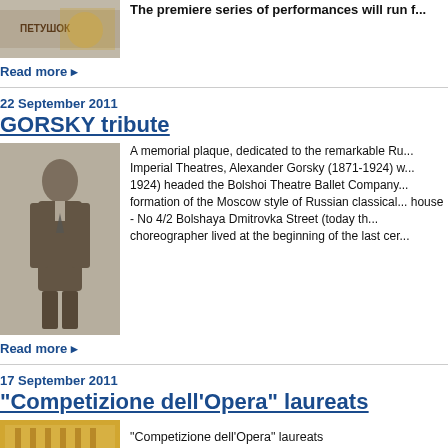[Figure (photo): Partial image at top of page, appears to show a person with text overlay in Russian, Bolshoi-related book or award]
The premiere series of performances will run f...
Read more ▸
22 September 2011
GORSKY tribute
[Figure (photo): Black and white historical portrait photograph of Alexander Gorsky, a young man in formal dark suit, standing pose, early 20th century style]
A memorial plaque, dedicated to the remarkable Ru... Imperial Theatres, Alexander Gorsky (1871-1924) w... 1924) headed the Bolshoi Theatre Ballet Company... formation of the Moscow style of Russian classical... house - No 4/2 Bolshaya Dmitrovka Street (today th... choreographer lived at the beginning of the last cer...
Read more ▸
17 September 2011
"Competizione dell'Opera" laureats
[Figure (photo): Small color image, appears to show ornate golden interior, possibly theatre or opera house]
"Competizione dell'Opera" laureats